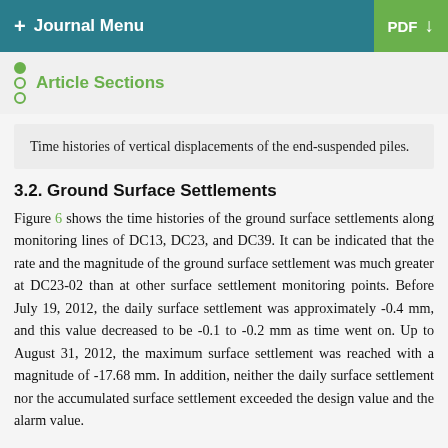+ Journal Menu   PDF ↓
Article Sections
Time histories of vertical displacements of the end-suspended piles.
3.2. Ground Surface Settlements
Figure 6 shows the time histories of the ground surface settlements along monitoring lines of DC13, DC23, and DC39. It can be indicated that the rate and the magnitude of the ground surface settlement was much greater at DC23-02 than at other surface settlement monitoring points. Before July 19, 2012, the daily surface settlement was approximately -0.4 mm, and this value decreased to be -0.1 to -0.2 mm as time went on. Up to August 31, 2012, the maximum surface settlement was reached with a magnitude of -17.68 mm. In addition, neither the daily surface settlement nor the accumulated surface settlement exceeded the design value and the alarm value.